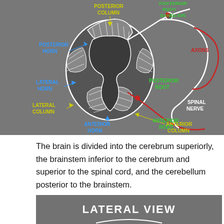[Figure (schematic): Anatomical diagram of a spinal cord cross-section showing labeled structures: Posterior Horn, Posterior Column, Lateral Horn, Lateral Column, Anterior Horn, Anterior Column (in blue/yellow), and Posterior Root Ganglion, Axons (in green/red), Posterior Root, Spinal Nerve, Anterior Root (in green/red). The spinal cord cross-section is shown in dark grey with white hatching, surrounded by nerve roots illustrated in white and red lines.]
The brain is divided into the cerebrum superiorly, the brainstem inferior to the cerebrum and superior to the spinal cord, and the cerebellum posterior to the brainstem.
[Figure (schematic): Lateral view diagram header showing 'LATERAL VIEW' text in white on dark grey background, with partial view of a brain illustration below.]